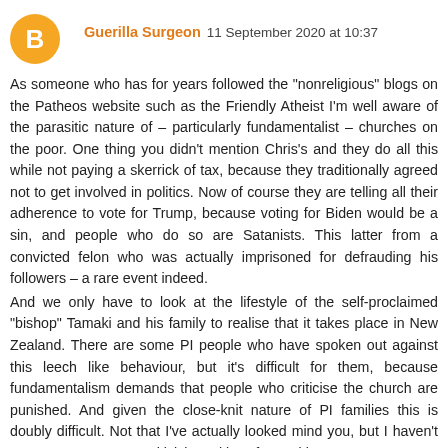[Figure (illustration): Orange circular avatar icon with a white letter B (Blogger logo)]
Guerilla Surgeon 11 September 2020 at 10:37
As someone who has for years followed the "nonreligious" blogs on the Patheos website such as the Friendly Atheist I'm well aware of the parasitic nature of – particularly fundamentalist – churches on the poor. One thing you didn't mention Chris's and they do all this while not paying a skerrick of tax, because they traditionally agreed not to get involved in politics. Now of course they are telling all their adherence to vote for Trump, because voting for Biden would be a sin, and people who do so are Satanists. This latter from a convicted felon who was actually imprisoned for defrauding his followers – a rare event indeed.
And we only have to look at the lifestyle of the self-proclaimed "bishop" Tamaki and his family to realise that it takes place in New Zealand. There are some PI people who have spoken out against this leech like behaviour, but it's difficult for them, because fundamentalism demands that people who criticise the church are punished. And given the close-knit nature of PI families this is doubly difficult. Not that I've actually looked mind you, but I haven't come across anyone criticising critics of parasitic PI